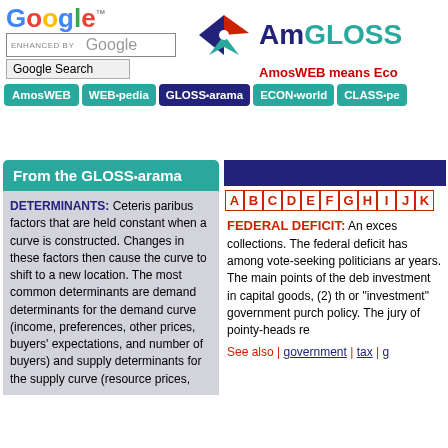[Figure (logo): Google logo with colored letters and superscript TM mark]
[Figure (screenshot): Search box labeled ENHANCED BY Google with Google Search button]
[Figure (logo): AmosWEB GLOSS*arama logo with star icon]
AmosWEB means Eco
[Figure (screenshot): Navigation bar with buttons: AmosWEB, WEB*pedia, GLOSS*arama (active), ECON*world, CLASS*pe]
From the GLOSS*arama
DETERMINANTS: Ceteris paribus factors that are held constant when a curve is constructed. Changes in these factors then cause the curve to shift to a new location. The most common determinants are demand determinants for the demand curve (income, preferences, other prices, buyers' expectations, and number of buyers) and supply determinants for the supply curve (resource prices,
[Figure (screenshot): Blue bar header on right column]
A B C D E F G H I J K alphabet navigation
FEDERAL DEFICIT: An excess... collections. The federal deficit has among vote-seeking politicians ar years. The main points of the deb investment in capital goods, (2) th or "investment" government purch policy. The jury of pointy-heads re
See also | government | tax | g